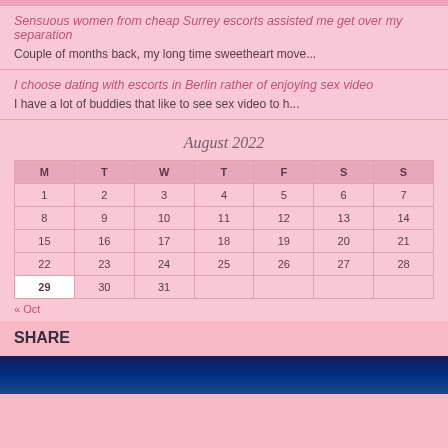Sensuous women from cheap Surrey escorts assisted me get over my separation
Couple of months back, my long time sweetheart move...
I choose dating with escorts in Berlin rather of enjoying sex video
I have a lot of buddies that like to see sex video to h...
| M | T | W | T | F | S | S |
| --- | --- | --- | --- | --- | --- | --- |
| 1 | 2 | 3 | 4 | 5 | 6 | 7 |
| 8 | 9 | 10 | 11 | 12 | 13 | 14 |
| 15 | 16 | 17 | 18 | 19 | 20 | 21 |
| 22 | 23 | 24 | 25 | 26 | 27 | 28 |
| 29 | 30 | 31 |  |  |  |  |
« Oct
SHARE
[Figure (photo): Dark blue gradient background image]